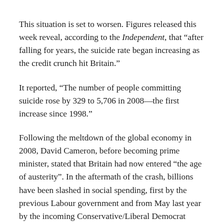This situation is set to worsen. Figures released this week reveal, according to the Independent, that “after falling for years, the suicide rate began increasing as the credit crunch hit Britain.”
It reported, “The number of people committing suicide rose by 329 to 5,706 in 2008—the first increase since 1998.”
Following the meltdown of the global economy in 2008, David Cameron, before becoming prime minister, stated that Britain had now entered “the age of austerity”. In the aftermath of the crash, billions have been slashed in social spending, first by the previous Labour government and from May last year by the incoming Conservative/Liberal Democrat government.
These policies have resulted in millions of people being